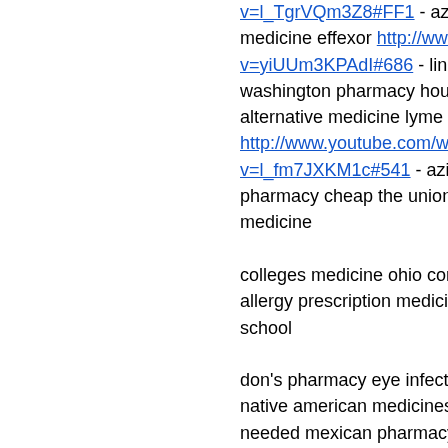v=l_TgrVQm3Z8#FF1 - azitromax rad medicine
medicine effexor http://www.youtube.com/watch?v=yiUUm3KPAdI#686 - link kent medi washington pharmacy hours
alternative medicine lyme disease dog http://www.youtube.com/watch?v=l_fm7JXKM1c#541 - azithromycin c pharmacy cheap the union and confe medicine
colleges medicine ohio corrupt medici
allergy prescription medicine on line p school
don's pharmacy eye infection red med
native american medicines arapaho m needed mexican pharmacy
peru peru medicine volunteer program
pharmacy technician virginia beach
ms state board of medicine white plai
guide to herbal medicine 18th century
medicine phamaceutical breakthrough
rising cost of medicine pharmacy tech program
medicine en gvote walgreens pharm